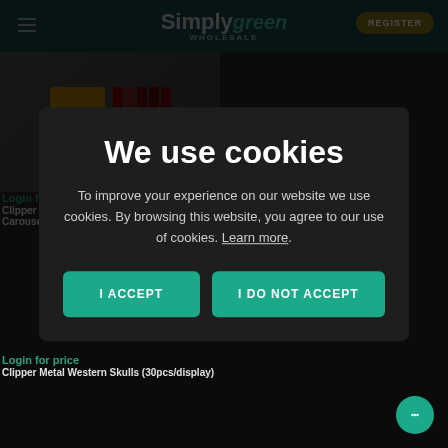SimplyGreen WHOLESALE — REGISTER
[Figure (photo): Product image showing Clipper Lighters Spring Terror display with multiple lighters]
Login for price
Clipper Lighters Spring Terror + Free Carousel (192pcs/display)
We use cookies
To improve your experience on our website we use cookies. By browsing this website, you agree to our use of cookies. Learn more.
I ACCEPT
I DO NOT ACCEPT
Login for price
Clipper Metal Western Skulls (30pcs/display)